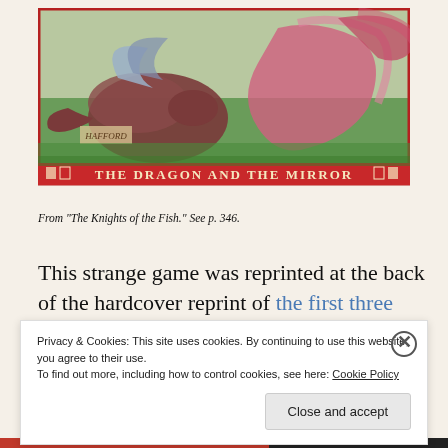[Figure (illustration): Illustrated book plate showing a dragon and a mirror scene with decorative red border. Title reads 'THE DRAGON AND THE MIRROR' at the bottom of the image.]
From "The Knights of the Fish." See p. 346.
This strange game was reprinted at the back of the hardcover reprint of the first three (reformatted) Arduin
Privacy & Cookies: This site uses cookies. By continuing to use this website, you agree to their use.
To find out more, including how to control cookies, see here: Cookie Policy